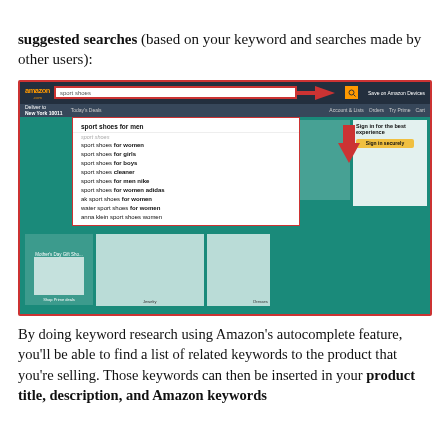suggested searches (based on your keyword and searches made by other users):
[Figure (screenshot): Amazon search page screenshot showing autocomplete dropdown with sport shoes suggestions including: sport shoes for men, sport shoes for women, sport shoes for girls, sport shoes for boys, sport shoes cleaner, sport shoes for men nike, sport shoes for women adidas, ak sport shoes for women, water sport shoes for women, anna klein sport shoes women. A red arrow points to the search bar and another red arrow points down at the dropdown.]
By doing keyword research using Amazon's autocomplete feature, you'll be able to find a list of related keywords to the product that you're selling. Those keywords can then be inserted in your product title, description, and Amazon keywords